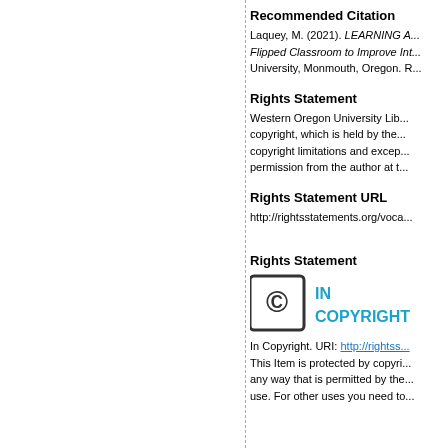Recommended Citation
Laquey, M. (2021). LEARNING A... Flipped Classroom to Improve Int... University, Monmouth, Oregon. R...
Rights Statement
Western Oregon University Lib... copyright, which is held by the... copyright limitations and excep... permission from the author at t...
Rights Statement URL
http://rightsstatements.org/voca...
Rights Statement
[Figure (logo): In Copyright logo with copyright symbol circle and blue IN COPYRIGHT text]
In Copyright. URI: http://rightss... This Item is protected by copyri... any way that is permitted by the... use. For other uses you need to...